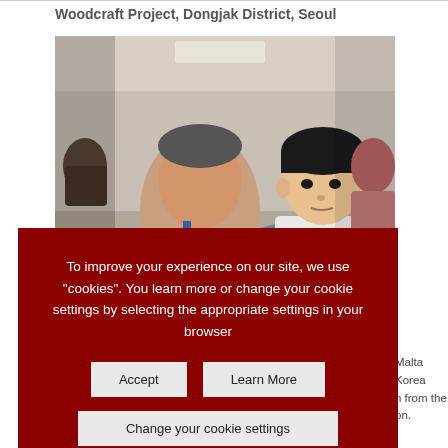Woodcraft Project,  Dongjak District, Seoul
[Figure (photo): An older East Asian man and a young boy working together on a woodcraft project indoors. Other participants visible in the background.]
Malta Korea … from the … on.
[Figure (photo): Partial view of a group of people outdoors among trees with autumn foliage.]
To improve your experience on our site, we use "cookies". You learn more or change your cookie settings by selecting the appropriate settings in your browser
Accept
Learn More
Change your cookie settings